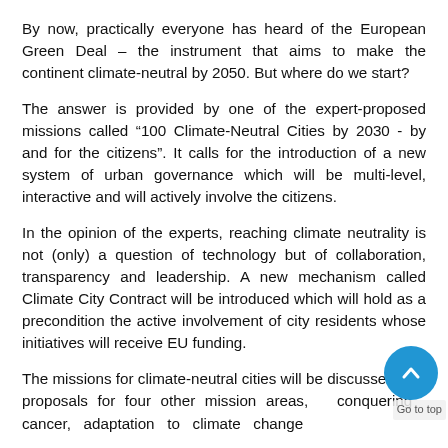By now, practically everyone has heard of the European Green Deal – the instrument that aims to make the continent climate-neutral by 2050. But where do we start?
The answer is provided by one of the expert-proposed missions called “100 Climate-Neutral Cities by 2030 - by and for the citizens”. It calls for the introduction of a new system of urban governance which will be multi-level, interactive and will actively involve the citizens.
In the opinion of the experts, reaching climate neutrality is not (only) a question of technology but of collaboration, transparency and leadership. A new mechanism called Climate City Contract will be introduced which will hold as a precondition the active involvement of city residents whose initiatives will receive EU funding.
The missions for climate-neutral cities will be discussed with proposals for four other mission areas, conquering cancer, adaptation to climate change